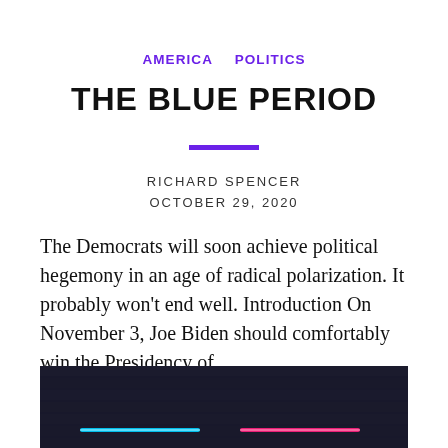AMERICA   POLITICS
THE BLUE PERIOD
RICHARD SPENCER
OCTOBER 29, 2020
The Democrats will soon achieve political hegemony in an age of radical polarization. It probably won't end well. Introduction On November 3, Joe Biden should comfortably win the Presidency of...
[Figure (photo): Dark background image with neon blue and pink horizontal light streaks, partially visible at the bottom of the page]